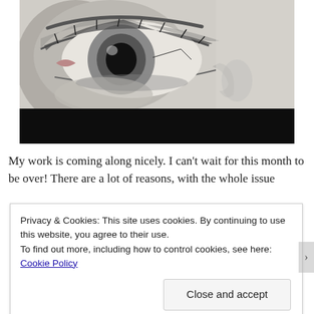[Figure (illustration): A black and white pencil drawing of a human eye, close-up view showing detailed shading of the eye, eyelid, and surrounding facial features on white paper, with a dark shadow beneath.]
My work is coming along nicely. I can't wait for this month to be over! There are a lot of reasons, with the whole issue
Privacy & Cookies: This site uses cookies. By continuing to use this website, you agree to their use.
To find out more, including how to control cookies, see here: Cookie Policy
Close and accept